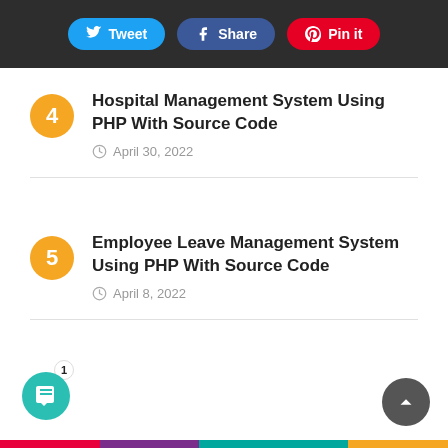[Figure (screenshot): Social sharing buttons: Tweet, Share, Pin it on dark background bar]
Hospital Management System Using PHP With Source Code
April 30, 2022
Employee Leave Management System Using PHP With Source Code
April 8, 2022